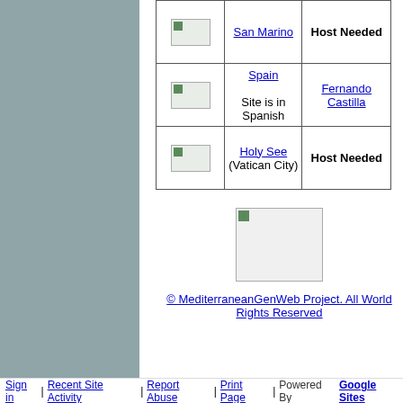| Flag | Country | Host |
| --- | --- | --- |
| [flag] | San Marino | Host Needed |
| [flag] | Spain
Site is in Spanish | Fernando Castilla |
| [flag] | Holy See (Vatican City) | Host Needed |
[Figure (photo): Large image placeholder in center of page]
© MediterraneanGenWeb Project. All World Rights Reserved
Sign in | Recent Site Activity | Report Abuse | Print Page | Powered By Google Sites